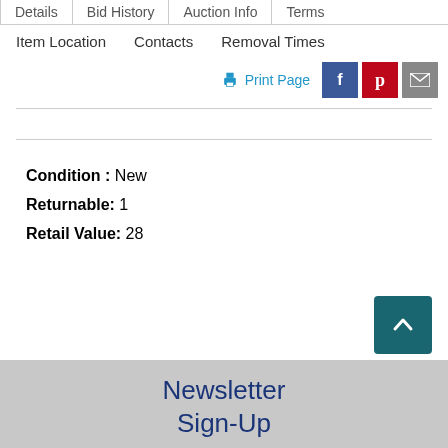Details | Bid History | Auction Info | Terms
Item Location | Contacts | Removal Times
Print Page
Condition : New
Returnable: 1
Retail Value: 28
Newsletter
Sign-Up